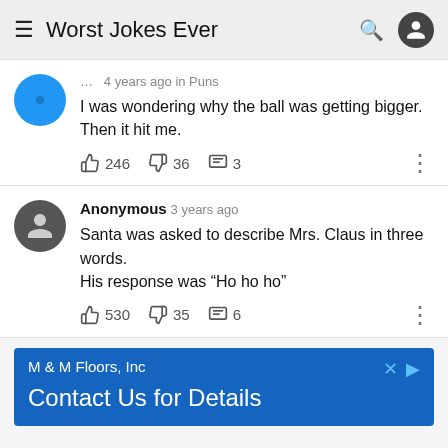Worst Jokes Ever
... 4 years ago in Puns
I was wondering why the ball was getting bigger. Then it hit me.
👍 246  👎 36  💬 3
Anonymous 3 years ago
Santa was asked to describe Mrs. Claus in three words.
His response was “Ho ho ho”
👍 530  👎 35  💬 6
[Figure (screenshot): Advertisement banner for M & M Floors, Inc with text 'Contact Us for Details' on blue background]